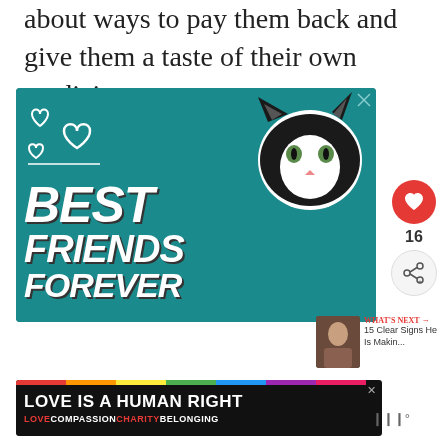about ways to pay them back and give them a taste of their own medicine.
[Figure (illustration): Advertisement with teal background showing a black and white cat face, heart outlines, and bold white italic text reading BEST FRIENDS FOREVER]
[Figure (illustration): Black background banner advertisement reading LOVE IS A HUMAN RIGHT with subtext LOVE COMPASSION CHARITY BELONGING]